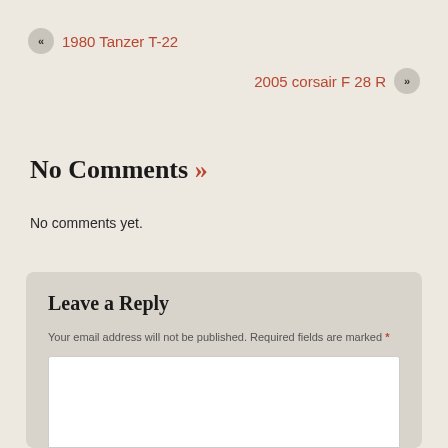« 1980 Tanzer T-22
2005 corsair F 28 R »
No Comments »
No comments yet.
Leave a Reply
Your email address will not be published. Required fields are marked *